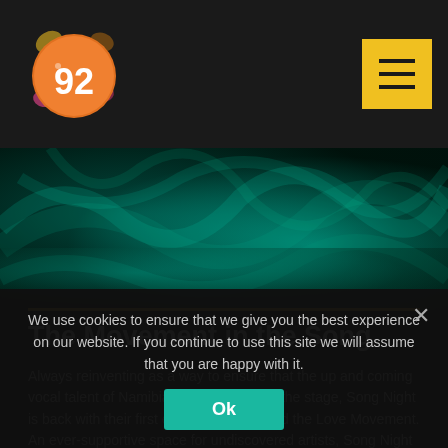92 | Song Night logo and navigation header
[Figure (illustration): Abstract teal/dark green smoky background image filling the hero section]
The Movement in the Song
Always reinventing as a way to ensure that the up and coming vocal talent of Namibia gets exposure to the stage, Song Night is back with their first event for 2018, titled the Love Movement. An ever-supportive space for undiscovered artists, Song Night this year boasts new artists, a new venue and a new Master of Ceremonies
We use cookies to ensure that we give you the best experience on our website. If you continue to use this site we will assume that you are happy with it.